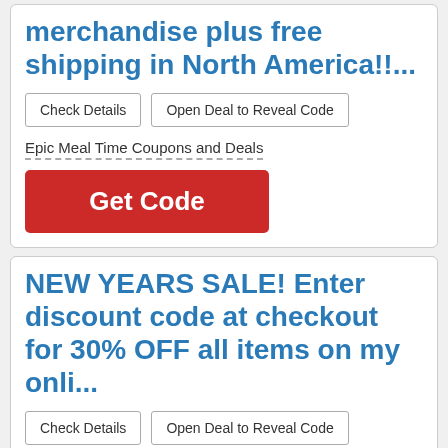merchandise plus free shipping in North America!!...
Check Details | Open Deal to Reveal Code
Epic Meal Time Coupons and Deals
Get Code
NEW YEARS SALE! Enter discount code at checkout for 30% OFF all items on my onli...
Check Details | Open Deal to Reveal Code
Jacky Vincent Coupons and Deals
Get Code